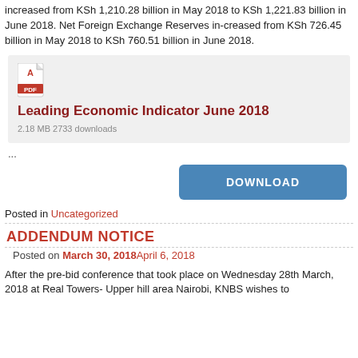increased from KSh 1,210.28 billion in May 2018 to KSh 1,221.83 billion in June 2018. Net Foreign Exchange Reserves in-creased from KSh 726.45 billion in May 2018 to KSh 760.51 billion in June 2018.
[Figure (other): PDF download box for 'Leading Economic Indicator June 2018' with PDF icon, file size 2.18 MB, 2733 downloads, and a DOWNLOAD button]
Posted in Uncategorized
ADDENDUM NOTICE
Posted on March 30, 2018April 6, 2018
After the pre-bid conference that took place on Wednesday 28th March, 2018 at Real Towers- Upper hill area Nairobi, KNBS wishes to